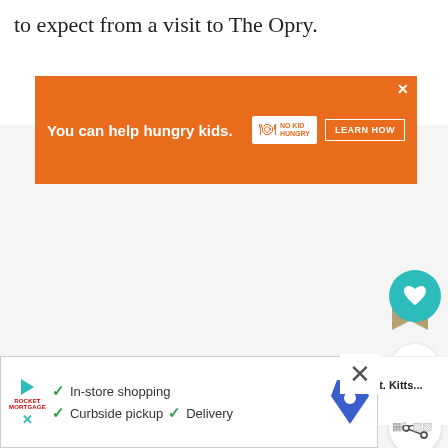to expect from a visit to The Opry.
[Figure (other): Orange advertisement banner: 'You can help hungry kids.' with No Kid Hungry logo and 'LEARN HOW' button, with close X]
[Figure (other): Like/bookmark widget showing heart icon (teal circle), bookmark shape, count 39, and share button]
[Figure (other): What's Next panel with thumbnail photo and text 'All Aboard the St. Kitts...']
[Figure (other): Bottom advertisement banner with play button, Rocketmortgage logo, checkmarks for In-store shopping, Curbside pickup, Delivery, map icon, and close X]